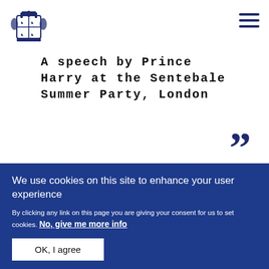[Figure (logo): Royal coat of arms logo in dark navy blue]
A speech by Prince Harry at the Sentebale Summer Party, London
”
We use cookies on this site to enhance your user experience
By clicking any link on this page you are giving your consent for us to set cookies. No, give me more info
OK, I agree